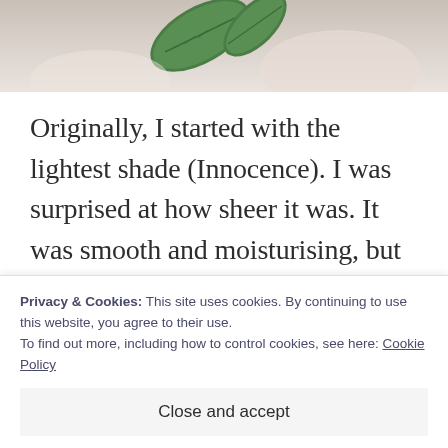[Figure (photo): Top portion of a photo showing green leaves and soft pink/cream background, cropped at top of page]
Originally, I started with the lightest shade (Innocence). I was surprised at how sheer it was. It was smooth and moisturising, but left very little colour. Therefore, I stepped up to the medium shade (Seduction) and later darker (Addiction). All colours were equally
Privacy & Cookies: This site uses cookies. By continuing to use this website, you agree to their use.
To find out more, including how to control cookies, see here: Cookie Policy
Close and accept